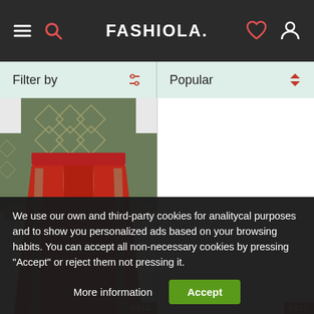FASHIOLA.
Filter by   Popular
[Figure (photo): Person wearing red track pants with side stripe and green patterned long-sleeve top, cropped at waist and ankles.]
We use our own and third-party cookies for analitycal purposes and to show you personalized ads based on your browsing habits. You can accept all non-necessary cookies by pressing "Accept" or reject them not pressing it.
More information   Accept